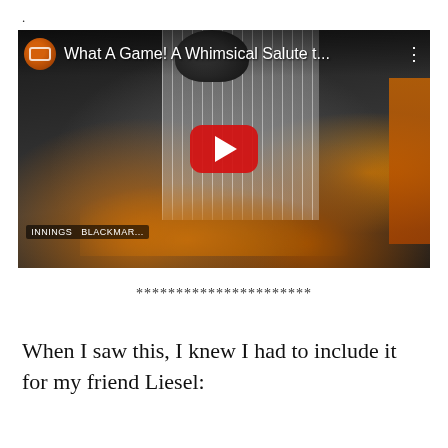.
[Figure (screenshot): YouTube video thumbnail showing a baseball player in New York Yankees pinstripe uniform diving or stumbling with dirt flying, overlaid with YouTube play button. Video title reads 'What A Game! A Whimsical Salute t...' with channel icon visible in top-left corner.]
**********************
When I saw this, I knew I had to include it for my friend Liesel: